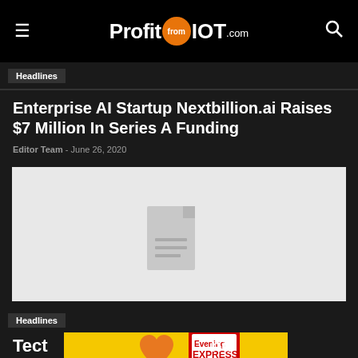ProfitfromIOT.com
Headlines
Enterprise AI Startup Nextbillion.ai Raises $7 Million In Series A Funding
Editor Team - June 26, 2020
[Figure (photo): Placeholder image with document icon on grey background]
Headlines
Tect... nd Series A Funding, Comes...